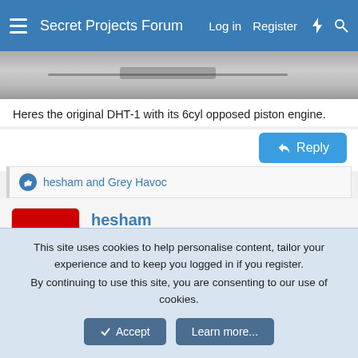Secret Projects Forum   Log in   Register
[Figure (photo): Partial view of a black and white photograph of an aircraft on the ground]
Heres the original DHT-1 with its 6cyl opposed piston engine.
hesham and Grey Havoc
hesham
ACCESS: USAP   Senior Member
Sep 10, 2020
#8
Thank you Sineva,
This site uses cookies to help personalise content, tailor your experience and to keep you logged in if you register.
By continuing to use this site, you are consenting to our use of cookies.